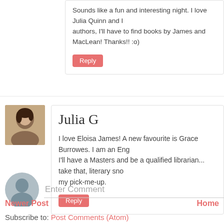Sounds like a fun and interesting night. I love Julia Quinn and I authors, I'll have to find books by James and MacLean! Thanks!! :o)
Reply
[Figure (photo): Small square avatar photo of a woman with dark hair]
Julia G
I love Eloisa James! A new favourite is Grace Burrowes. I am an Eng I'll have a Masters and be a qualified librarian... take that, literary sno my pick-me-up.
Reply
[Figure (illustration): Generic gray user avatar circle icon]
Enter Comment
Newer Post
Home
Subscribe to: Post Comments (Atom)